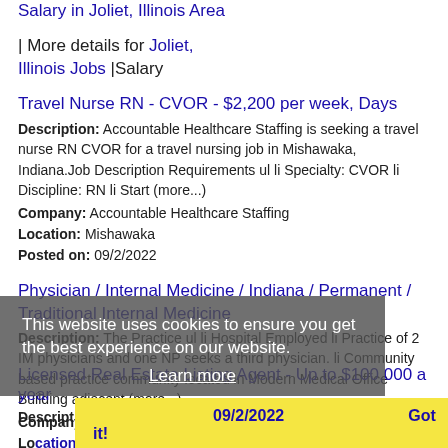Salary in Joliet, Illinois Area | More details for Joliet, Illinois Jobs |Salary
Travel Nurse RN - CVOR - $2,200 per week, Days
Description: Accountable Healthcare Staffing is seeking a travel nurse RN CVOR for a travel nursing job in Mishawaka, Indiana.Job Description Requirements ul li Specialty: CVOR li Discipline: RN li Start (more...)
Company: Accountable Healthcare Staffing
Location: Mishawaka
Posted on: 09/2/2022
Physician / Internal Medicine / Indiana / Permanent / Traditional Internal Medicine
Description: The Practice ul li Hospital Employed li Practice of 2 IM physicians and one NP seeks a third physician. li Community based practice community located in Modern Medical Office Building adjacent (more...)
Company: Pacific Companies, Inc.
Location: Mishawaka
Posted on: 09/2/2022
Licensed Real Estate Listing Agent - Up to $100,000 a year
Description: Job DescriptionAre you looking for a new opportunity